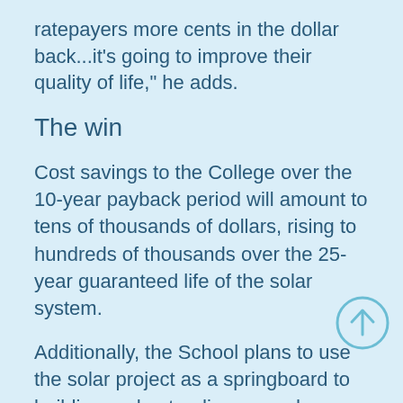ratepayers more cents in the dollar back...it's going to improve their quality of life," he adds.
The win
Cost savings to the College over the 10-year payback period will amount to tens of thousands of dollars, rising to hundreds of thousands over the 25-year guaranteed life of the solar system.
Additionally, the School plans to use the solar project as a springboard to building understanding around renewable energies and have its ākonga (students) lead community projects around developing
[Figure (other): Circular scroll-to-top button with upward arrow in light blue]